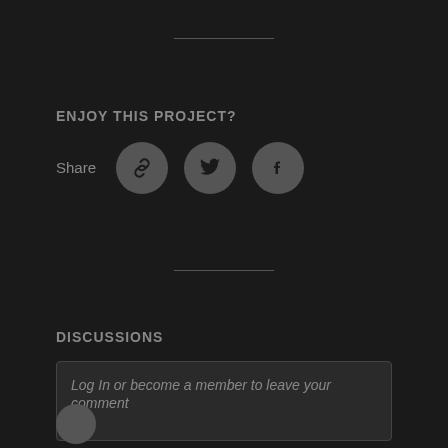ENJOY THIS PROJECT?
Share
[Figure (other): Social share buttons: link icon, Twitter bird icon, Facebook f icon — all in circular gray buttons]
DISCUSSIONS
Log In or become a member to leave your comment
Log In/Sign up to comment